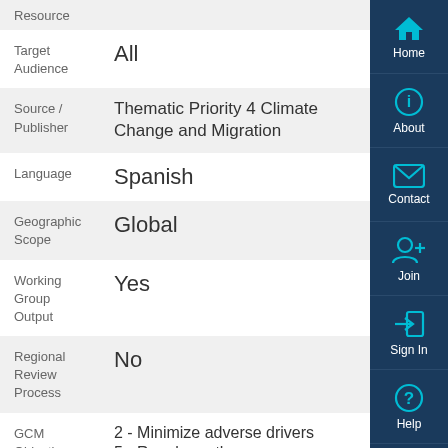Resource
| Field | Value |
| --- | --- |
| Target Audience | All |
| Source / Publisher | Thematic Priority 4 Climate Change and Migration |
| Language | Spanish |
| Geographic Scope | Global |
| Working Group Output | Yes |
| Regional Review Process | No |
| GCM Objectives | 2 - Minimize adverse drivers
5 - Regular pathways |